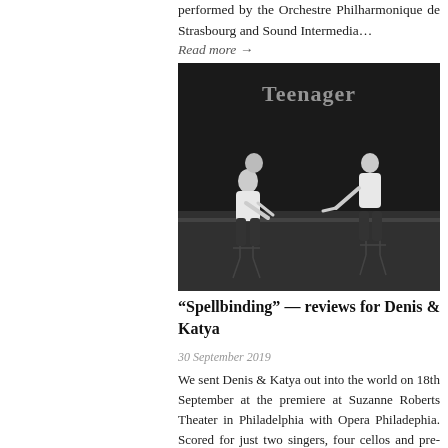performed by the Orchestre Philharmonique de Strasbourg and Sound Intermedia…
Read more →
[Figure (photo): Black and white photograph of two performers seated on chairs on a stage with dark background. The word 'Teenager' appears in light text at the top of the image. One figure on the left leans forward, the other on the right gestures with hands.]
“Spellbinding” — reviews for Denis & Katya
30 September 2019
We sent Denis & Katya out into the world on 18th September at the premiere at Suzanne Roberts Theater in Philadelphia with Opera Philadephia. Scored for just two singers, four cellos and pre-recorded sound and video, the 65-minute pseudo-verbatim opera…